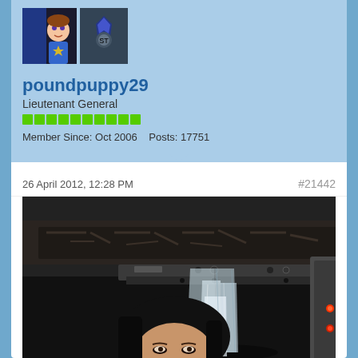[Figure (photo): Two small user avatar images side by side at top of profile card]
poundpuppy29
Lieutenant General
[Figure (infographic): Green reputation pip bar showing 10 green squares]
Member Since: Oct 2006    Posts: 17751
26 April 2012, 12:28 PM
#21442
[Figure (photo): Dark photograph of a woman with dark hair looking over a stack of clear crystal-like objects in front of a sci-fi style prop or set piece with red indicator lights]